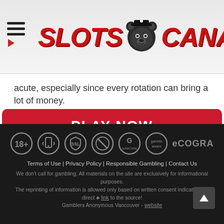[Figure (logo): Slots Canada logo with red italic text, bear mascot icon in the center, and hamburger menu icon on the left with a red arrow]
acute, especially since every rotation can bring a lot of money.
[Figure (other): Red 'PLAY NOW' button]
Microgaming Slots
[Figure (other): Row of trust/certification icons: 18+, mobile, SSL, no-symbol, GamCare, Gamble Aware, eCOGRA]
Terms of Use | Privacy Policy | Responsible Gambling | Contact Us
We don't call for gambling. All materials on the site are exclusively for informational purposes.
The reprinting of information is allowed only based on written consent indicating the direct ♣ link to the source!
Gamblers Anonymous Vancouver - website